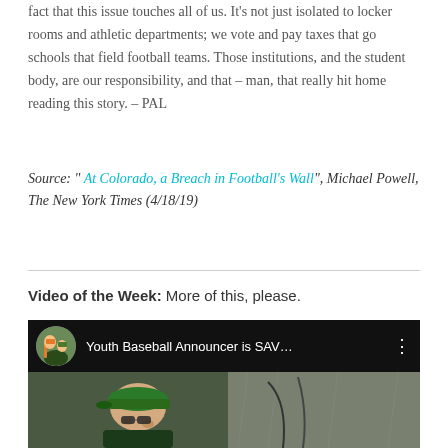fact that this issue touches all of us. It's not just isolated to locker rooms and athletic departments; we vote and pay taxes that go schools that field football teams. Those institutions, and the student body, are our responsibility, and that – man, that really hit home reading this story. – PAL
Source: " At Colorado, a Breach in Football's Wall", Michael Powell, The New York Times (4/18/19)
Video of the Week: More of this, please.
[Figure (screenshot): YouTube video thumbnail showing 'Youth Baseball Announcer is SAV...' with a circular avatar thumbnail, a man wearing a green baseball cap in the lower portion of the image.]